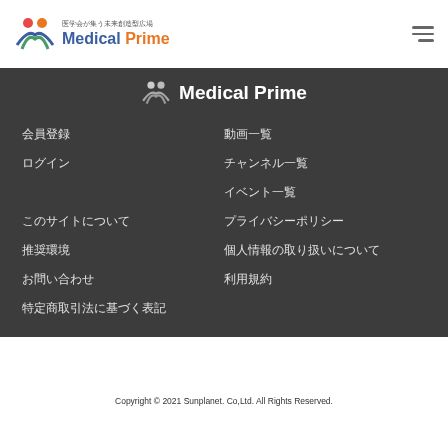Medical Prime - 医学会が集う未来創造型広場
[Figure (logo): Medical Prime logo with icon and text in dark blue and orange, tagline 医学会が集う未来創造型広場]
会員登録
動画一覧
ログイン
チャンネル一覧
イベント一覧
このサイトについて
プライバシーポリシー
推奨環境
個人情報の取り扱いについて
お問い合わせ
利用規約
特定商取引法に基づく表記
Copyright © 2021 Sunplanet. Co,Ltd. All Rights Reserved.